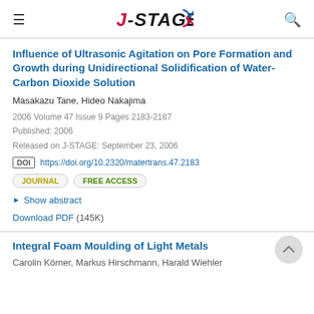J-STAGE
Influence of Ultrasonic Agitation on Pore Formation and Growth during Unidirectional Solidification of Water-Carbon Dioxide Solution
Masakazu Tane, Hideo Nakajima
2006 Volume 47 Issue 9 Pages 2183-2187
Published: 2006
Released on J-STAGE: September 23, 2006
DOI https://doi.org/10.2320/matertrans.47.2183
JOURNAL   FREE ACCESS
Show abstract
Download PDF (145K)
Integral Foam Moulding of Light Metals
Carolin Körner, Markus Hirschmann, Harald Wiehler